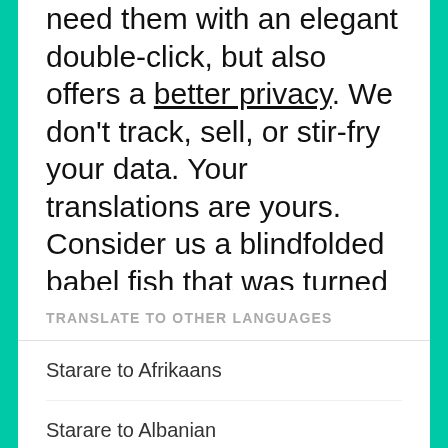need them with an elegant double-click, but also offers a better privacy. We don't track, sell, or stir-fry your data. Your translations are yours. Consider us a blindfolded babel fish that was turned into a bunch of beautiful apps to have your back with translations.
TRANSLATE TO OTHER LANGUAGES
Starare to Afrikaans
Starare to Albanian
Starare to Amharic